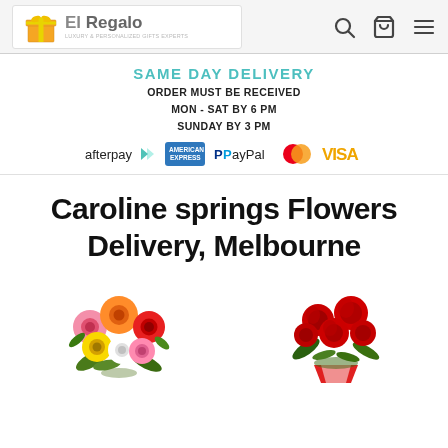[Figure (logo): El Regalo logo - gift box icon with text 'El Regalo' in navigation bar]
El Regalo — navigation bar with search, cart, and menu icons
SAME DAY DELIVERY
ORDER MUST BE RECEIVED
MON - SAT BY 6 PM
SUNDAY BY 3 PM
[Figure (infographic): Payment logos: afterpay, American Express, PayPal, Mastercard, VISA]
Caroline springs Flowers Delivery, Melbourne
[Figure (photo): Colorful gerbera daisy flower bouquet (left)]
[Figure (photo): Red roses bouquet with white filler flowers (right)]